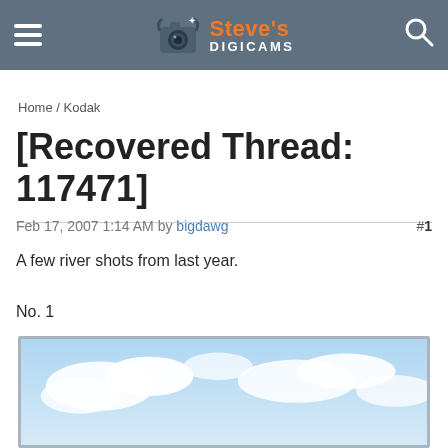Steve's DIGICAMS
Home / Kodak
[Recovered Thread: 117471]
Feb 17, 2007 1:14 AM by bigdawg  #1
A few river shots from last year.

No. 1
[Figure (photo): Partially visible river photograph showing blue sky with clouds, framed with a light gray border.]